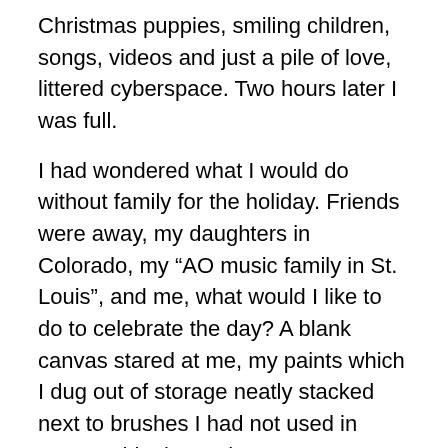Christmas puppies, smiling children, songs, videos and just a pile of love, littered cyberspace.  Two hours later I was full.
I had wondered what I would do without family for the holiday. Friends were away, my daughters in Colorado, my “AO music family in St. Louis”, and me, what would I like to do to celebrate the day?  A blank canvas stared at me, my paints which I dug out of storage neatly stacked next to brushes I had not used in years.  A blank Word Document sat blinking at me from my computer screen.  Oh, the pressure.
So, I did what anyone with writers block does:  I checked out when the movie I had been waiting to see for months started.  “The Secret Life Of Walter Mitty”.   It was playing at my favorite blockbuster Regal Cinema in Biltmore Park.